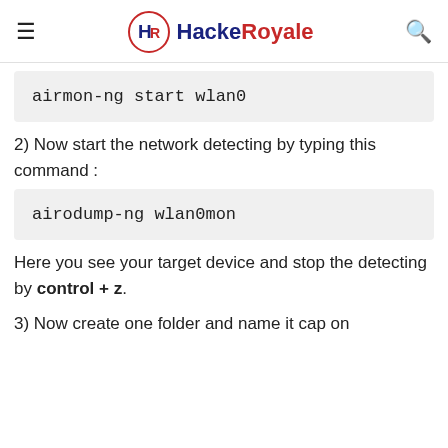HackeRoyale
airmon-ng start wlan0
2) Now start the network detecting by typing this command :
airodump-ng wlan0mon
Here you see your target device and stop the detecting by control + z.
3) Now create one folder and name it cap on